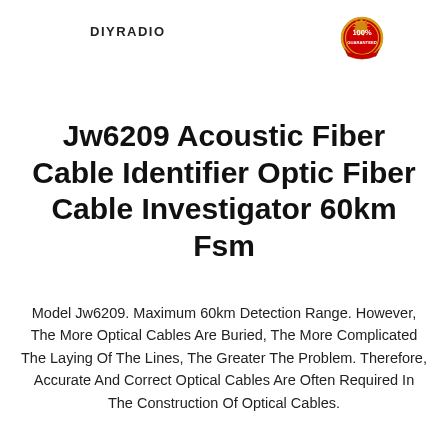DIYRADIO
[Figure (logo): 100% Guaranteed badge/seal in red and gold with ribbon]
Jw6209 Acoustic Fiber Cable Identifier Optic Fiber Cable Investigator 60km Fsm
Model Jw6209. Maximum 60km Detection Range. However, The More Optical Cables Are Buried, The More Complicated The Laying Of The Lines, The Greater The Problem. Therefore, Accurate And Correct Optical Cables Are Often Required In The Construction Of Optical Cables.